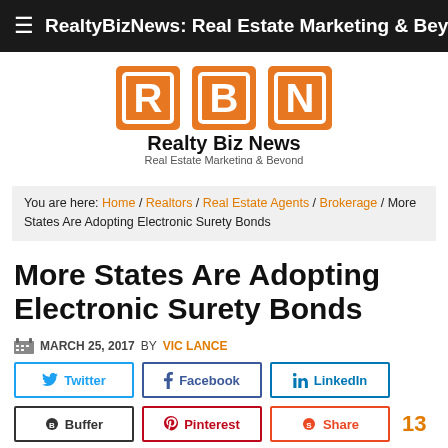RealtyBizNews: Real Estate Marketing & Beyond
[Figure (logo): RBN Realty Biz News logo with orange squares containing letters R, B, N and text 'Realty Biz News' and 'Real Estate Marketing & Beyond']
You are here: Home / Realtors / Real Estate Agents / Brokerage / More States Are Adopting Electronic Surety Bonds
More States Are Adopting Electronic Surety Bonds
MARCH 25, 2017 BY VIC LANCE
Twitter | Facebook | LinkedIn | Buffer | Pinterest | Share | 13